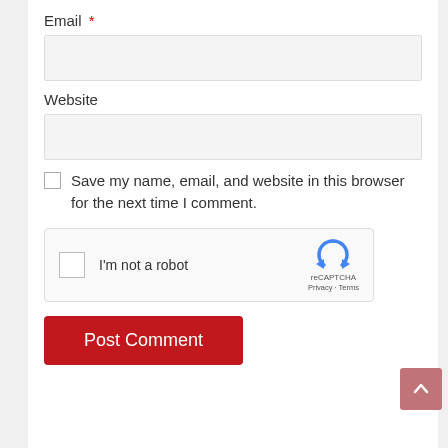Email *
[Figure (other): Email text input field (empty, light gray background)]
Website
[Figure (other): Website text input field (empty, light gray background)]
Save my name, email, and website in this browser for the next time I comment.
[Figure (other): reCAPTCHA widget with checkbox labeled 'I'm not a robot' and reCAPTCHA logo]
[Figure (other): Post Comment button (dark red)]
[Figure (other): Back to top button (muted red, chevron up icon)]